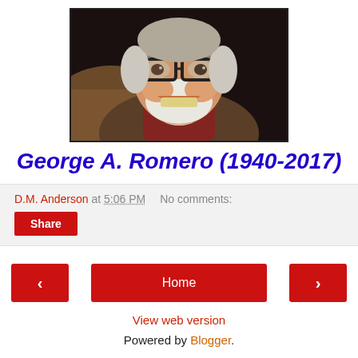[Figure (photo): Photo of George A. Romero, elderly man smiling broadly, wearing large black-framed glasses, white beard, brown and red jacket, dark background.]
George A. Romero (1940-2017)
D.M. Anderson at 5:06 PM   No comments:
Share
‹
Home
›
View web version
Powered by Blogger.